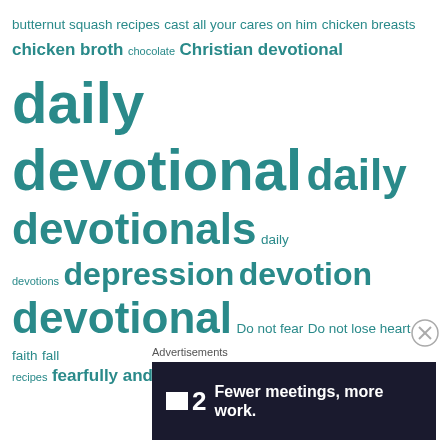[Figure (infographic): A word/tag cloud with teal-colored terms of varying sizes representing search tags or categories, including: butternut squash recipes, cast all your cares on him, chicken breasts, chicken broth, chocolate, Christian devotional, daily, devotional, daily devotionals, daily devotions, depression, devotion, devotional, Do not fear, Do not lose heart, faith, fall recipes, fearfully and wonderfully made, fear not, fiber, flowers, fruit, garlic powder, gluten free, gluten free appetizers, gluten free bread, gluten free breakfast, gluten free dessert, gluten free dinner, gluten free italian, gluten free pasta, gluten free pizza, gluten free]
[Figure (screenshot): Advertisement banner with dark navy background showing a small white square icon, the number '2', and text 'Fewer meetings, more work.' with a close button (X) to the right]